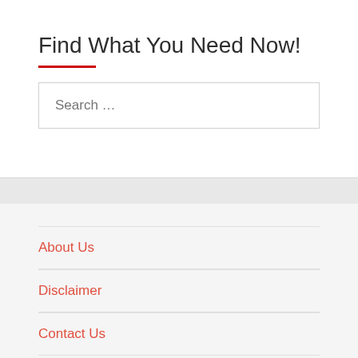Find What You Need Now!
Search …
About Us
Disclaimer
Contact Us